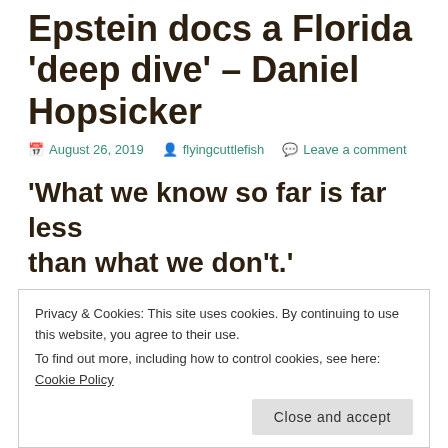Epstein docs a Florida 'deep dive' – Daniel Hopsicker
August 26, 2019 · flyingcuttlefish · Leave a comment
'What we know so far is far less than what we don't.'
This is a tale of two worlds. One is fabulous, and full of opportunity. The other...
Privacy & Cookies: This site uses cookies. By continuing to use this website, you agree to their use.
To find out more, including how to control cookies, see here: Cookie Policy
Close and accept